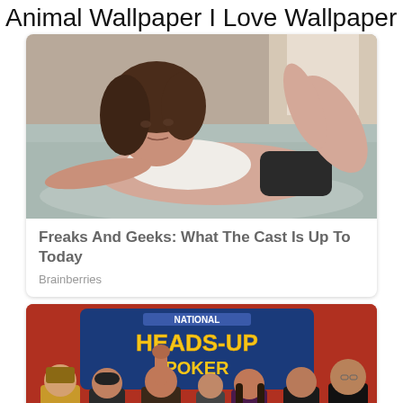Animal Wallpaper I Love Wallpaper
[Figure (photo): Young woman with brown curly hair lying on a bed in a white tank top and black shorts, posing for a photo.]
Freaks And Geeks: What The Cast Is Up To Today
Brainberries
[Figure (photo): Group of people on a TV show set for National Heads-Up Poker, with a woman raising her fist in victory surrounded by others, one person in a Roman gladiator costume holding cash.]